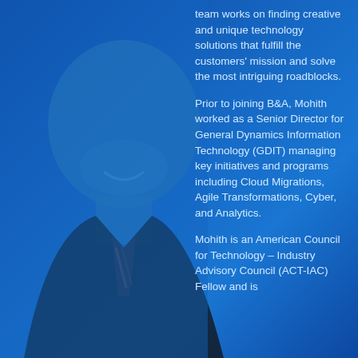[Figure (photo): Portrait photo of a bald smiling man in a dark suit and striped tie, rendered with a blue overlay/tint]
team works on finding creative and unique technology solutions that fulfill the customers' mission and solve the most intriguing roadblocks.
Prior to joining B&A, Mohith worked as a Senior Director for General Dynamics Information Technology (GDIT) managing key initiatives and programs including Cloud Migrations, Agile Transformations, Cyber, and Analytics.
Mohith is an American Council for Technology – Industry Advisory Council (ACT-IAC) Fellow and is